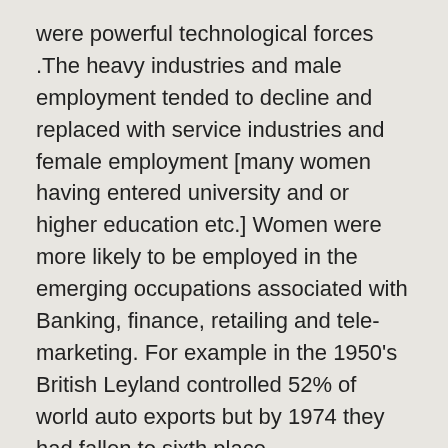were powerful technological forces .The heavy industries and male employment tended to decline and replaced with service industries and female employment [many women having entered university and or higher education etc.] Women were more likely to be employed in the emerging occupations associated with Banking, finance, retailing and tele-marketing. For example in the 1950's British Leyland controlled 52% of world auto exports but by 1974 they had fallen to sixth place.
The changing gender roles possibly might be expressed in Margaret Thatcher becoming PM.
Some sources suggest between 1965 and 1980 2 million manufacturing jobs were lost in UK.These were predominantly in heavy industries like car manufacture, mining, ship building, mining, steel.[see